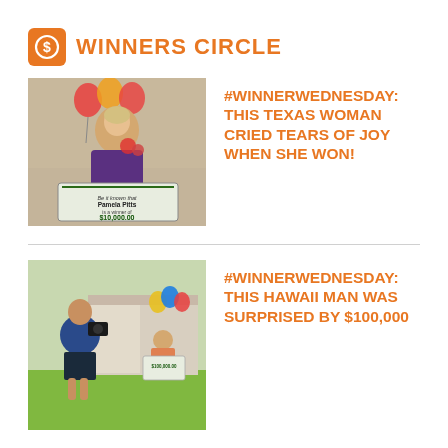WINNERS CIRCLE
[Figure (photo): Woman holding balloons and flowers with a Publishers Clearing House check for $10,000.00 made out to Pamela Pitts]
#WINNERWEDNESDAY: THIS TEXAS WOMAN CRIED TEARS OF JOY WHEN SHE WON!
[Figure (photo): Man filming a Publishers Clearing House winner holding a check for $100,000 in a front yard with balloons]
#WINNERWEDNESDAY: THIS HAWAII MAN WAS SURPRISED BY $100,000